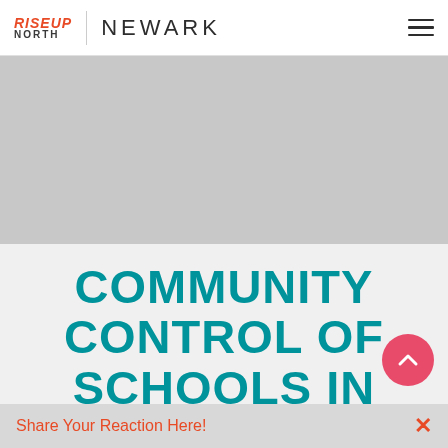RiseUp North | NEWARK
[Figure (photo): Gray placeholder hero image area]
COMMUNITY CONTROL OF SCHOOLS IN
Share Your Reaction Here!